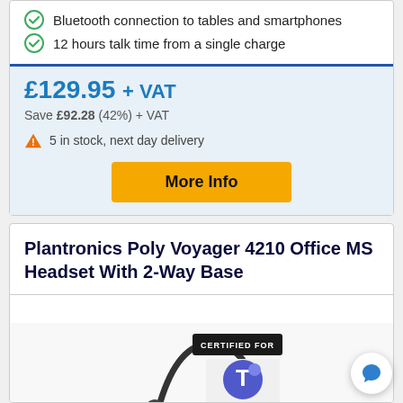Bluetooth connection to tables and smartphones
12 hours talk time from a single charge
£129.95 + VAT
Save £92.28 (42%) + VAT
5 in stock, next day delivery
More Info
Plantronics Poly Voyager 4210 Office MS Headset With 2-Way Base
[Figure (photo): Headset product image with Microsoft Teams certified badge overlay]